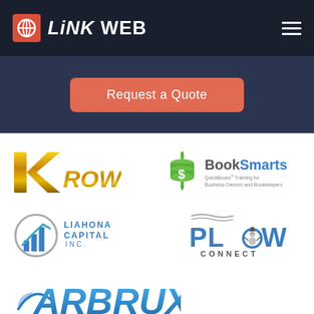LINK WEB
Request a Quote
[Figure (logo): Krown logo - gold metallic lettering]
[Figure (logo): BookSmarts logo - QuickBooks Training for Business Owners and Bookkeepers]
[Figure (logo): Liahona Capital Inc logo with blue chart icon]
[Figure (logo): Plow Connect logo with snowman in letter O]
[Figure (logo): Arbrux Manufacturing logo in blue italic]